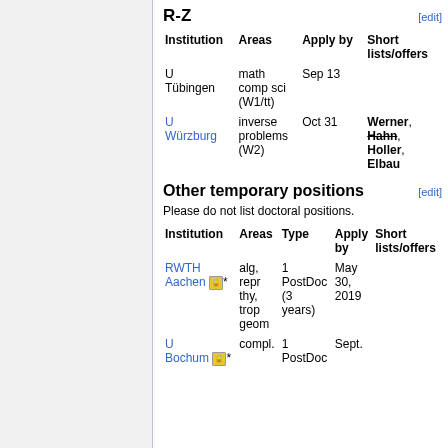R-Z
| Institution | Areas | Apply by | Short lists/offers |
| --- | --- | --- | --- |
| U Tübingen | math comp sci (W1/tt) | Sep 13 |  |
| U Würzburg | inverse problems (W2) | Oct 31 | Werner, Hahn, Holler, Elbau |
Other temporary positions
Please do not list doctoral positions.
| Institution | Areas | Type | Apply by | Short lists/offers |
| --- | --- | --- | --- | --- |
| RWTH Aachen 🔒* | alg, repr thy, trop geom | 1 PostDoc (3 years) | May 30, 2019 |  |
| U Bochum 🔒* | compl. geom | 1 PostDoc | Sept. 30 |  |